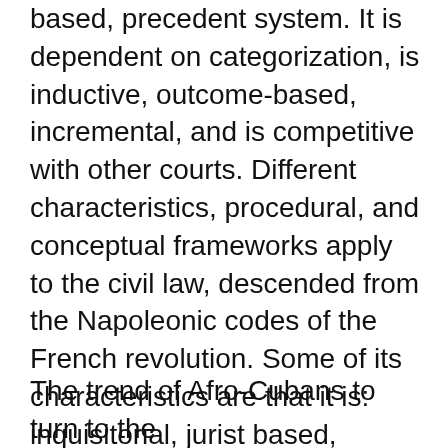based, precedent system. It is dependent on categorization, is inductive, outcome-based, incremental, and is competitive with other courts. Different characteristics, procedural, and conceptual frameworks apply to the civil law, descended from the Napoleonic codes of the French revolution. Some of its characteristics are that it is: inquisitorial, jurist based, shaped by annotation and the development of legal codes; not court specific (different notions of jurisdiction); deductive; theoretical; and integrated.  Some Afro-Cuban individuals also turned to this type of law for redress against racial discrimination.
The trend of Afro-Cubans to turn to the...